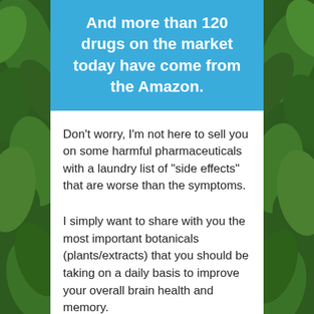And more than 120 drugs on the market today have come from the Amazon.
Don’t worry, I’m not here to sell you on some harmful pharmaceuticals with a laundry list of “side effects” that are worse than the symptoms.
I simply want to share with you the most important botanicals (plants/extracts) that you should be taking on a daily basis to improve your overall brain health and memory.
I call them the…